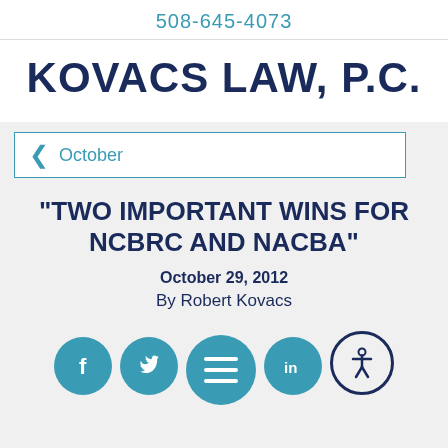508-645-4073
KOVACS LAW, P.C.
October
"TWO IMPORTANT WINS FOR NCBRC AND NACBA"
October 29, 2012
By Robert Kovacs
[Figure (infographic): Social media share icons: Facebook, Twitter, LinkedIn circles in teal, a teal hamburger menu button, and an accessibility icon circle in dark navy]